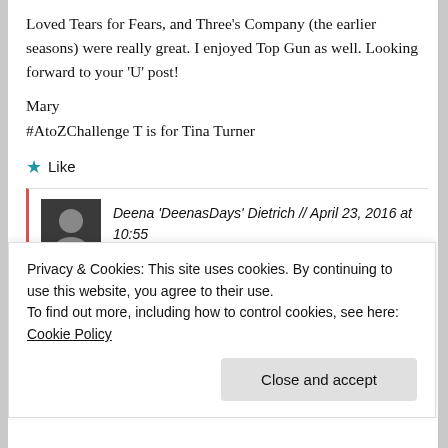Loved Tears for Fears, and Three's Company (the earlier seasons) were really great. I enjoyed Top Gun as well. Looking forward to your 'U' post!
Mary
#AtoZChallenge T is for Tina Turner
★ Like
Deena 'DeenasDays' Dietrich // April 23, 2016 at 10:55 pm // Reply
Privacy & Cookies: This site uses cookies. By continuing to use this website, you agree to their use.
To find out more, including how to control cookies, see here: Cookie Policy
Close and accept